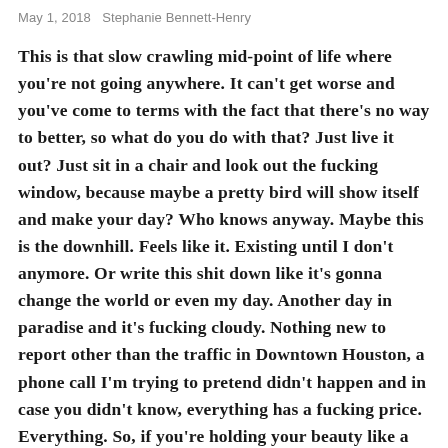May 1, 2018   Stephanie Bennett-Henry
This is that slow crawling mid-point of life where you're not going anywhere. It can't get worse and you've come to terms with the fact that there's no way to better, so what do you do with that? Just live it out? Just sit in a chair and look out the fucking window, because maybe a pretty bird will show itself and make your day? Who knows anyway. Maybe this is the downhill. Feels like it. Existing until I don't anymore. Or write this shit down like it's gonna change the world or even my day. Another day in paradise and it's fucking cloudy. Nothing new to report other than the traffic in Downtown Houston, a phone call I'm trying to pretend didn't happen and in case you didn't know, everything has a fucking price. Everything. So, if you're holding your beauty like a ribbon that's always gonna look cute, you better untie that shit and look again. You don't get it back when you lose it and no one gives a